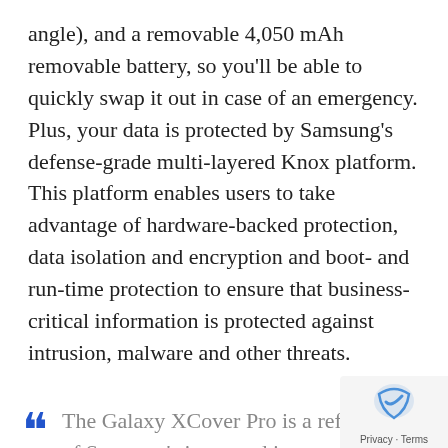angle), and a removable 4,050 mAh removable battery, so you'll be able to quickly swap it out in case of an emergency. Plus, your data is protected by Samsung's defense-grade multi-layered Knox platform. This platform enables users to take advantage of hardware-backed protection, data isolation and encryption and boot- and run-time protection to ensure that business-critical information is protected against intrusion, malware and other threats.
The Galaxy XCover Pro is a reflection of Samsung's increased investment and commitment to B2B market. We be[lieve] the business mobility market is ripe for [growth]